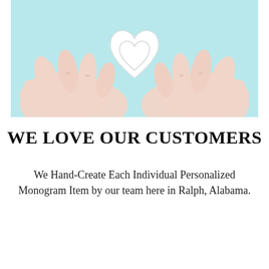[Figure (photo): Two hands holding a white heart-shaped monogram locket against a light teal/blue background, viewed from above.]
WE LOVE OUR CUSTOMERS
We Hand-Create Each Individual Personalized Monogram Item by our team here in Ralph, Alabama.